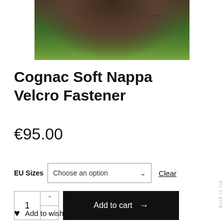[Figure (photo): Product photo of a shoe sole above green grass field with 'Lose Einlage' label visible in top right]
Cognac Soft Nappa Velcro Fastener
€95.00
EU Sizes    Choose an option    Clear
1  Add to cart →
Add to wishlist